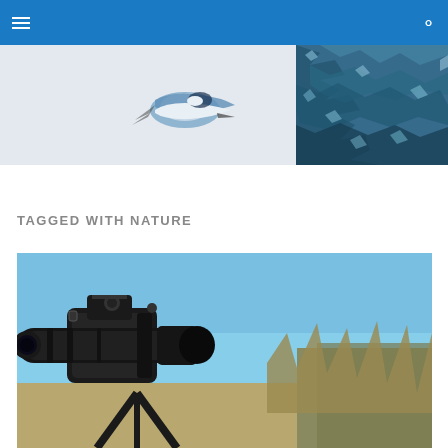Navigation header with hamburger menu and search icon
[Figure (photo): Banner image split into two panels: left panel shows a white-breasted nuthatch bird in flight against a light background, right panel shows a textured pattern resembling crumpled metallic or glass material in blue tones]
TAGGED WITH NATURE
[Figure (photo): Close-up photograph of a camera with a large telephoto lens mounted on a tripod, shot from a low angle against a clear blue sky with dry grasses and trees visible in the background]